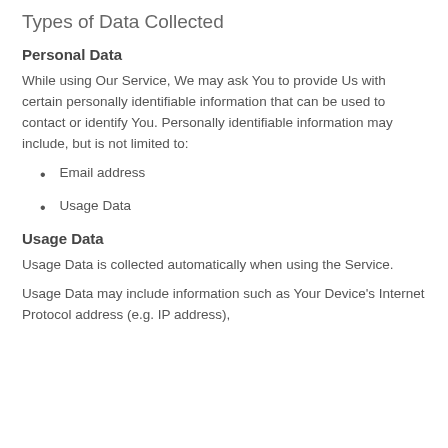Types of Data Collected
Personal Data
While using Our Service, We may ask You to provide Us with certain personally identifiable information that can be used to contact or identify You. Personally identifiable information may include, but is not limited to:
Email address
Usage Data
Usage Data
Usage Data is collected automatically when using the Service.
Usage Data may include information such as Your Device's Internet Protocol address (e.g. IP address),